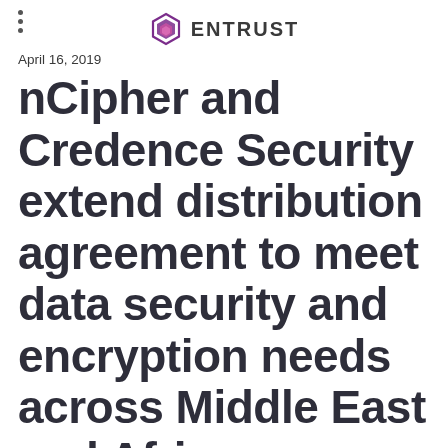ENTRUST
April 16, 2019
nCipher and Credence Security extend distribution agreement to meet data security and encryption needs across Middle East and Africa